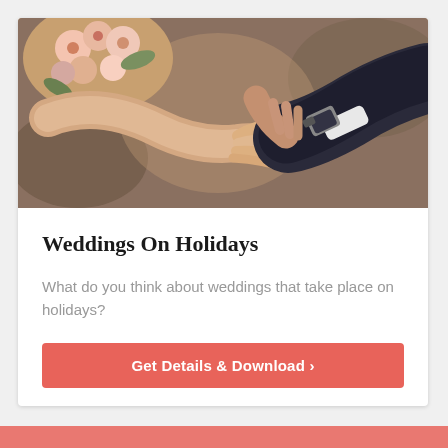[Figure (photo): Close-up photo of a couple exchanging wedding rings. A bride holding a bouquet of pink and cream flowers, with the groom placing a ring on her finger. The groom wears a dark suit and a watch. Warm, bokeh background.]
Weddings On Holidays
What do you think about weddings that take place on holidays?
Get Details & Download ›